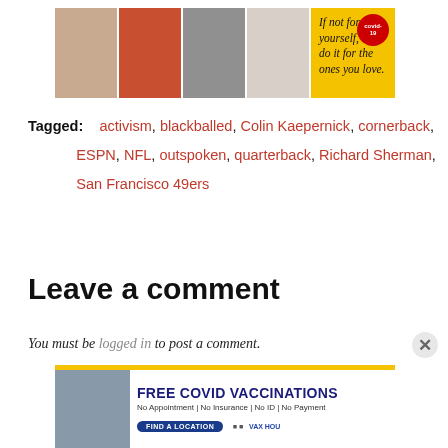[Figure (photo): Advertisement banner showing four people posing, alongside a yellow COVID-19 vaccination promotion banner reading 'If not for yourself, do it for the ones you love.']
Tagged: activism, blackballed, Colin Kaepernick, cornerback, ESPN, NFL, outspoken, quarterback, Richard Sherman, San Francisco 49ers
Leave a comment
You must be logged in to post a comment.
[Figure (photo): Advertisement for FREE COVID VACCINATIONS. No Appointment | No Insurance | No ID | No Payment. Find a Location. VAX HOU.]